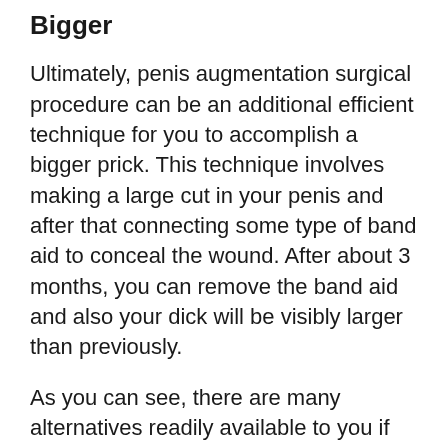Bigger
Ultimately, penis augmentation surgical procedure can be an additional efficient technique for you to accomplish a bigger prick. This technique involves making a large cut in your penis and after that connecting some type of band aid to conceal the wound. After about 3 months, you can remove the band aid and also your dick will be visibly larger than previously.
As you can see, there are many alternatives readily available to you if you wish to make your penis larger. You do not have to put up with a small-sized member. By picking among these 3 options, you will certainly really feel far better concerning yourself and